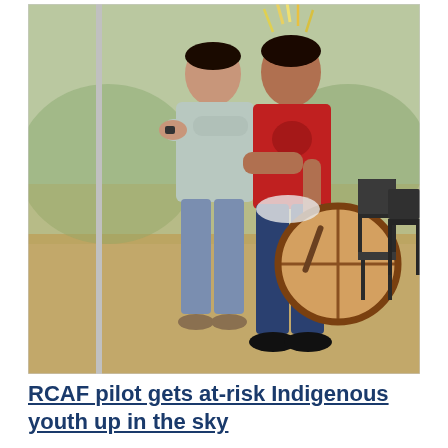[Figure (photo): Two men standing outdoors on dry grass. The man in the foreground wears a red t-shirt with a feathered headdress and holds a round Indigenous drum. The man in the background wears a light grey polo shirt with arms crossed. Several black chairs are visible to the right. The setting appears to be an outdoor event under a canopy.]
RCAF pilot gets at-risk Indigenous youth up in the sky